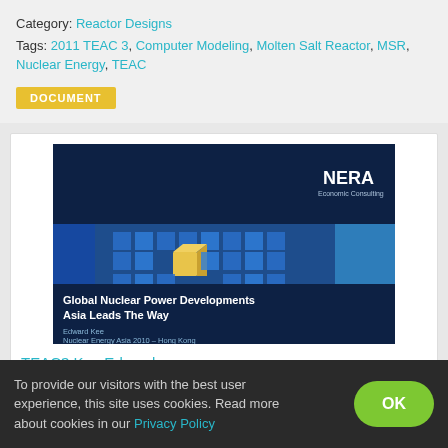Category: Reactor Designs
Tags: 2011 TEAC 3, Computer Modeling, Molten Salt Reactor, MSR, Nuclear Energy, TEAC
DOCUMENT
[Figure (screenshot): NERA Economic Consulting slide cover showing '3D blue cubes with one gold cube, title: Global Nuclear Power Developments Asia Leads The Way, by Edward Kee, Nuclear Energy Asia 2010 – Hong Kong']
TEAC3 Kee Edward
To provide our visitors with the best user experience, this site uses cookies. Read more about cookies in our Privacy Policy